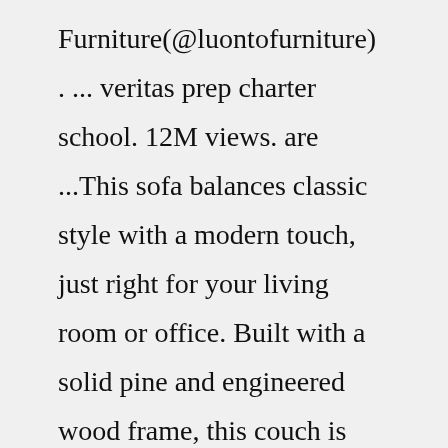Furniture(@luontofurniture) . ... veritas prep charter school. 12M views. are ...This sofa balances classic style with a modern touch, just right for your living room or office. Built with a solid pine and engineered wood frame, this couch is wrapped in genuine leather and leather match fabric with a solid color. We love how the flared arms and cushion back and loose back give this sofa a modern style. Foam- and polyester-filled cushions and sinuous springs prevent